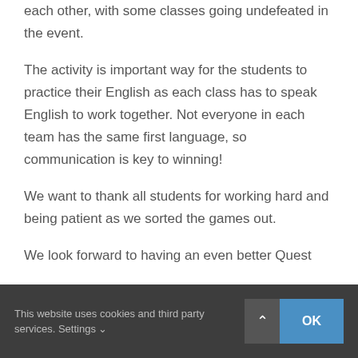each other, with some classes going undefeated in the event.
The activity is important way for the students to practice their English as each class has to speak English to work together. Not everyone in each team has the same first language, so communication is key to winning!
We want to thank all students for working hard and being patient as we sorted the games out.
We look forward to having an even better Quest
This website uses cookies and third party services. Settings ∨
OK